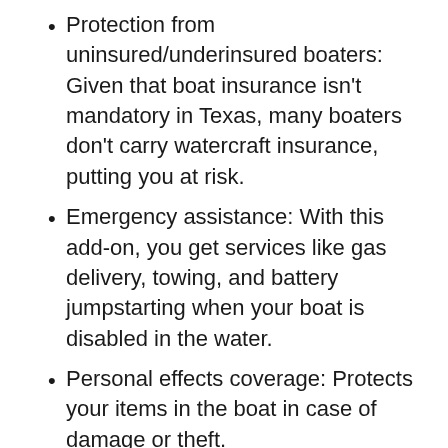Protection from uninsured/underinsured boaters: Given that boat insurance isn't mandatory in Texas, many boaters don't carry watercraft insurance, putting you at risk.
Emergency assistance: With this add-on, you get services like gas delivery, towing, and battery jumpstarting when your boat is disabled in the water.
Personal effects coverage: Protects your items in the boat in case of damage or theft.
Are you ready to get started with boat insurance? Please contact David King Insurance Services LLC of Coppell, TX today for all your boat insurance needs.